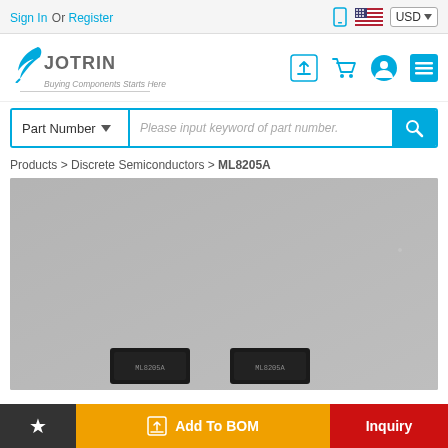Sign In Or Register | USD
[Figure (logo): Jotrin Electronics logo with feather icon and tagline 'Buying Components Starts Here']
Please input keyword of part number.
Products > Discrete Semiconductors > ML8205A
[Figure (photo): Product photo showing two ML8205A semiconductor chips on a gray background]
Add To BOM
Inquiry